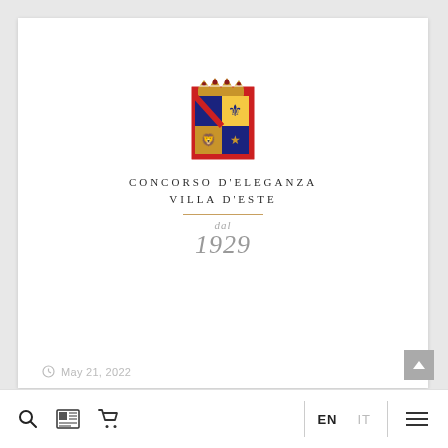[Figure (logo): Concorso d'Eleganza Villa d'Este heraldic crest logo on red background with crown and coat of arms]
CONCORSO D'ELEGANZA
VILLA D'ESTE
dal
1929
May 21, 2022
EN  IT  ☰